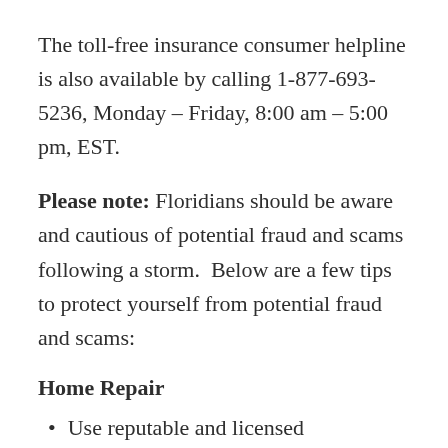The toll-free insurance consumer helpline is also available by calling 1-877-693-5236, Monday – Friday, 8:00 am – 5:00 pm, EST.
Please note: Floridians should be aware and cautious of potential fraud and scams following a storm.  Below are a few tips to protect yourself from potential fraud and scams:
Home Repair
Use reputable and licensed contractors.